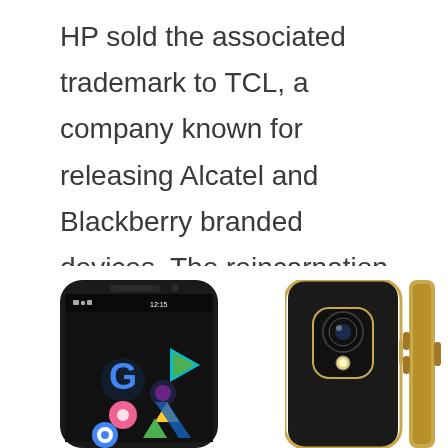HP sold the associated trademark to TCL, a company known for releasing Alcatel and Blackberry branded devices. The reincarnation of Palm was quite fascinating, as they came up something which is far from a complete phone.
[Figure (photo): Three views of a Palm smartphone: front view showing Android home screen with Google apps icons, back view showing camera module with gold trim, and side view showing gold-colored frame.]